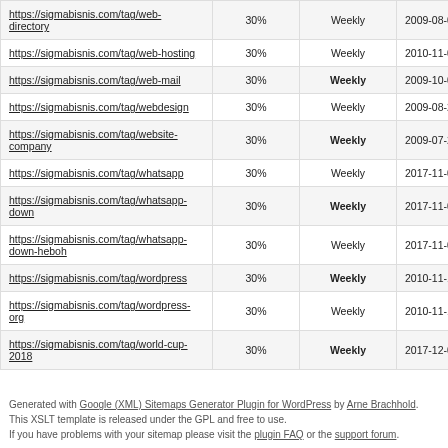| https://sigmabisnis.com/tag/web-directory | 30% | Weekly | 2009-08-07 03:57 |
| https://sigmabisnis.com/tag/web-hosting | 30% | Weekly | 2010-11-06 08:12 |
| https://sigmabisnis.com/tag/web-mail | 30% | Weekly | 2009-10-06 04:13 |
| https://sigmabisnis.com/tag/webdesign | 30% | Weekly | 2009-08-22 02:02 |
| https://sigmabisnis.com/tag/website-company | 30% | Weekly | 2009-07-24 09:46 |
| https://sigmabisnis.com/tag/whatsapp | 30% | Weekly | 2017-11-03 06:17 |
| https://sigmabisnis.com/tag/whatsapp-down | 30% | Weekly | 2017-11-03 06:17 |
| https://sigmabisnis.com/tag/whatsapp-down-heboh | 30% | Weekly | 2017-11-03 06:17 |
| https://sigmabisnis.com/tag/wordpress | 30% | Weekly | 2010-11-18 11:10 |
| https://sigmabisnis.com/tag/wordpress-org | 30% | Weekly | 2010-11-18 11:10 |
| https://sigmabisnis.com/tag/world-cup-2018 | 30% | Weekly | 2017-12-02 00:22 |
Generated with Google (XML) Sitemaps Generator Plugin for WordPress by Arne Brachhold. This XSLT template is released under the GPL and free to use.
If you have problems with your sitemap please visit the plugin FAQ or the support forum.